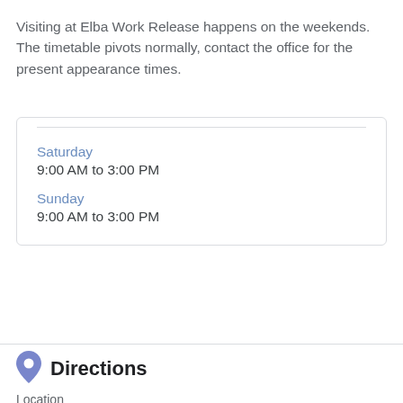Visiting at Elba Work Release happens on the weekends. The timetable pivots normally, contact the office for the present appearance times.
| Day | Hours |
| --- | --- |
| Saturday | 9:00 AM to 3:00 PM |
| Sunday | 9:00 AM to 3:00 PM |
Directions
Location